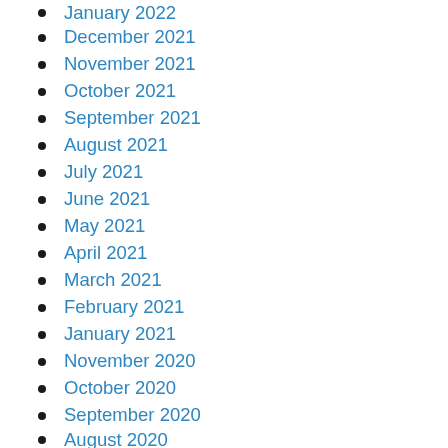January 2022
December 2021
November 2021
October 2021
September 2021
August 2021
July 2021
June 2021
May 2021
April 2021
March 2021
February 2021
January 2021
November 2020
October 2020
September 2020
August 2020